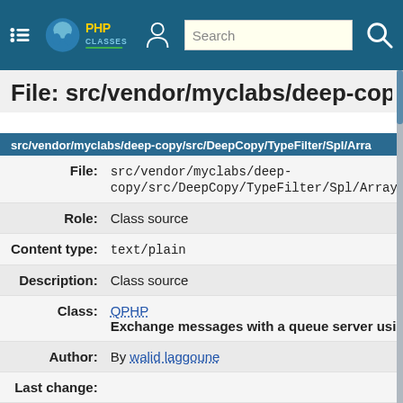PHP Classes — Search navigation bar
File: src/vendor/myclabs/deep-copy/src/DeepCopy/TypeFilter/Spl/ArrayObje
src/vendor/myclabs/deep-copy/src/DeepCopy/TypeFilter/Spl/Arra
| Field | Value |
| --- | --- |
| File: | src/vendor/myclabs/deep-copy/src/DeepCopy/TypeFilter/Spl/ArrayOb |
| Role: | Class source |
| Content type: | text/plain |
| Description: | Class source |
| Class: | QPHP
Exchange messages with a queue server using Sw |
| Author: | By walid laggoune |
| Last change: |  |
| Date: | 8 months ago |
| Size: | 720 bytes |